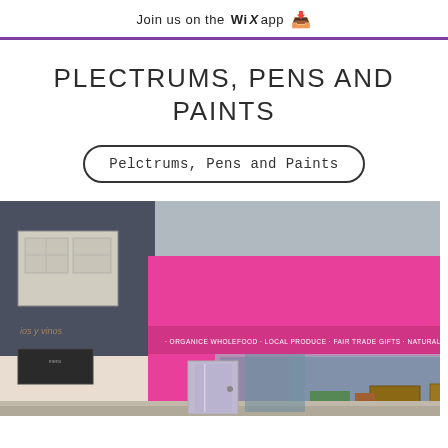Join us on the WiX app ⬇
PLECTRUMS, PENS AND PAINTS
Pelctrums, Pens and Paints
[Figure (photo): Exterior of a shop with a bright pink/magenta facade and teal/green accents on the right. The shop window displays various products. A sign across the front reads: ORGANICE WHOLEFOOD · LOCAL PRODUCE · FAIR TRADE GIFTS · NATURAL SKINCARE. A decorative Christmas wreath with lights is visible in the window. Adjacent shops visible on either side.]